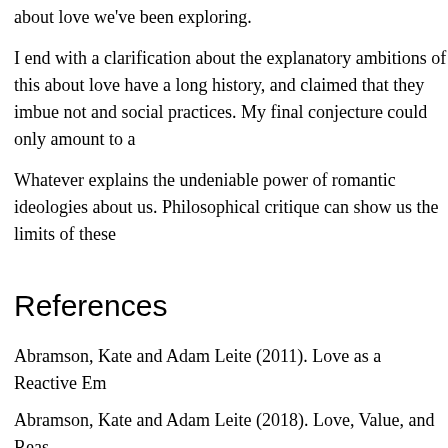about love we've been exploring.
I end with a clarification about the explanatory ambitions of this about love have a long history, and claimed that they imbue not and social practices. My final conjecture could only amount to a
Whatever explains the undeniable power of romantic ideologies about us. Philosophical critique can show us the limits of these
References
Abramson, Kate and Adam Leite (2011). Love as a Reactive Em
Abramson, Kate and Adam Leite (2018). Love, Value, and Reas Oxford Handbook of Philosophy of Love. Oxford Universi https://doi.org/10.1093/oxfordhb/9780199395729.013.7
Aristotle (1997). Nicomachean Ethics. Terence Irwin (Trans.). H
Austen, Jane (2001). Sense and Sensibility. The Modern Library
Badwhar, Neera (2003). Love. In H. LaFollette (Ed.), Practical